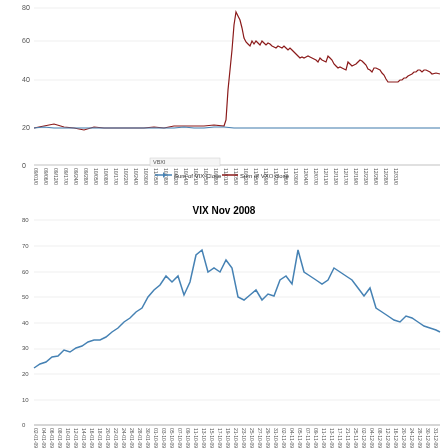[Figure (line-chart): Top chart showing VIX and VXO close values from approximately Sep 2007 to Dec 2007, with a sharp spike to ~80 in October 2008 for VXO. The blue line is Sum of VIX Close and the red line is Sum of VXO close.]
[Figure (line-chart): Line chart of VIX values during November 2008. Values start around 22-25, rise to peaks near 80, then decline toward 40 by end of period.]